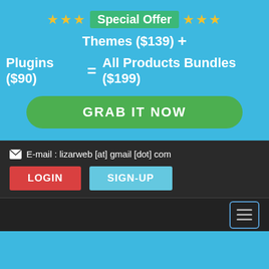★★★ Special Offer ★★★ Themes ($139) + Plugins ($90) = All Products Bundles ($199)
GRAB IT NOW
E-mail : lizarweb [at] gmail [dot] com
LOGIN
SIGN-UP
[Figure (screenshot): Navigation bar with hamburger menu icon]
[Figure (screenshot): Blue background section]
[Figure (screenshot): White section with back-to-top button (gray circle with upward arrow)]